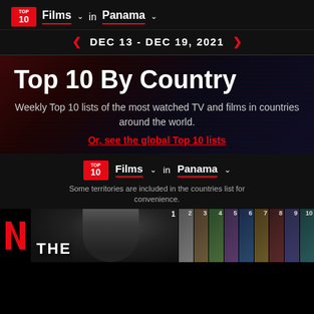TOP 10 Films in Panama
DEC 13 - DEC 19, 2021
Top 10 By Country
Weekly Top 10 lists of the most watched TV and films in countries around the world.
Or, see the global Top 10 lists
TOP 10 Films in Panama
Some territories are included in the countries list for convenience.
[Figure (screenshot): Bottom strip showing Netflix logo, main film thumbnail with title 'THE', rank number 1, and small thumbnails numbered 2-10]